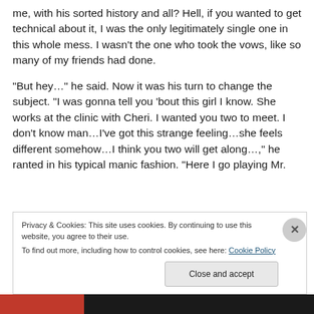me, with his sorted history and all? Hell, if you wanted to get technical about it, I was the only legitimately single one in this whole mess. I wasn't the one who took the vows, like so many of my friends had done.
“But hey…” he said. Now it was his turn to change the subject. “I was gonna tell you ‘bout this girl I know. She works at the clinic with Cheri. I wanted you two to meet. I don't know man…I’ve got this strange feeling…she feels different somehow…I think you two will get along…,” he ranted in his typical manic fashion. “Here I go playing Mr.
Privacy & Cookies: This site uses cookies. By continuing to use this website, you agree to their use.
To find out more, including how to control cookies, see here: Cookie Policy